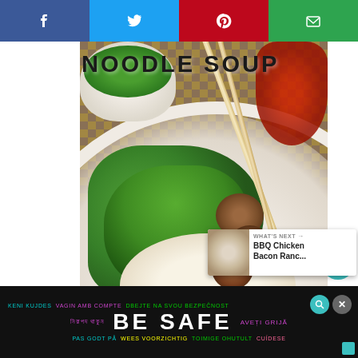[Figure (screenshot): Social media share bar with Facebook, Twitter, Pinterest, and Email buttons at the top of the page]
NOODLE SOUP
[Figure (photo): A bowl of noodle soup with broccolini, meatballs, rice noodles, green onions, and chopsticks resting on the bowl, on a checkered wooden table background]
177
[Figure (screenshot): WHAT'S NEXT card showing BBQ Chicken Bacon Ranc... with a thumbnail image]
KENI KUJDES  VAGIN AMB COMPTE  DBEJTE NA SVOU BEZPEČNOST  নিরাপদ থাকুন  BE SAFE  AVEȚI GRIJĂ  PAS GODT PÅ  WEES VOORZICHTIG  TOIMIGE OHUTULT  CUÍDESE